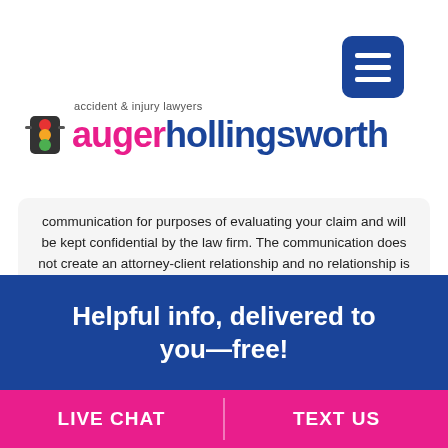[Figure (logo): Auger Hollingsworth accident & injury lawyers logo with traffic light icon]
communication for purposes of evaluating your claim and will be kept confidential by the law firm. The communication does not create an attorney-client relationship and no relationship is formed until a fee agreement is signed by you and the law firm. Our privacy policy can be found here.
Helpful info, delivered to you—free!
LIVE CHAT
TEXT US